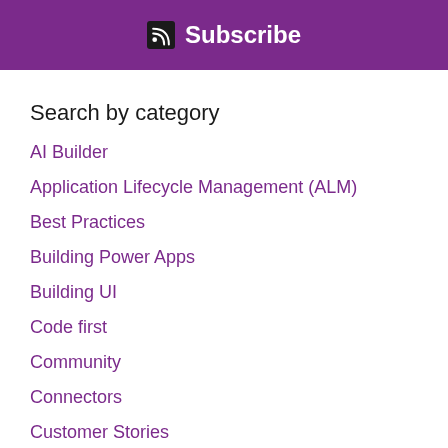Subscribe
Search by category
AI Builder
Application Lifecycle Management (ALM)
Best Practices
Building Power Apps
Building UI
Code first
Community
Connectors
Customer Stories
Dataverse